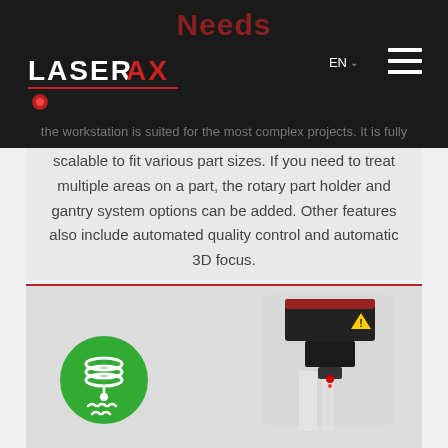Needs
[Figure (logo): LaserAX logo with red AX letters and red laser beam underline graphic]
the workstation is suited for the most complex projects. It is fully scalable to fit various part sizes. If you need to treat multiple areas on a part, the rotary part holder and gantry system options can be added. Other features also include automated quality control and automatic 3D focus.
[Figure (photo): Green circular icon with stacked rings and heat wave symbol on the left; laser marking head device photograph on the right]